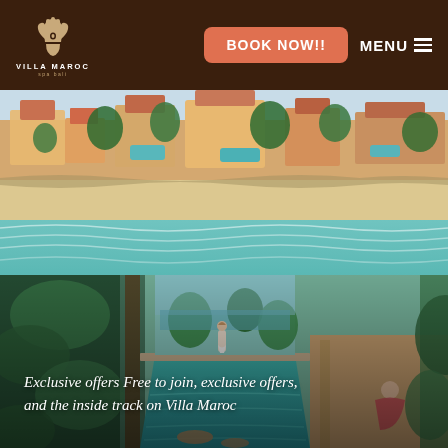VILLA MAROC spa bali — BOOK NOW!! MENU
[Figure (photo): Aerial drone view of a beachfront resort with colorful villas, lush palm trees, blue swimming pools, and a wide sandy beach with turquoise ocean waves]
[Figure (photo): Infinity pool at a luxury resort with a woman standing at the far end overlooking the ocean, another guest sitting in the foreground with drinks, lush greenery framing the scene]
Exclusive offers Free to join, exclusive offers, and the inside track on Villa Maroc